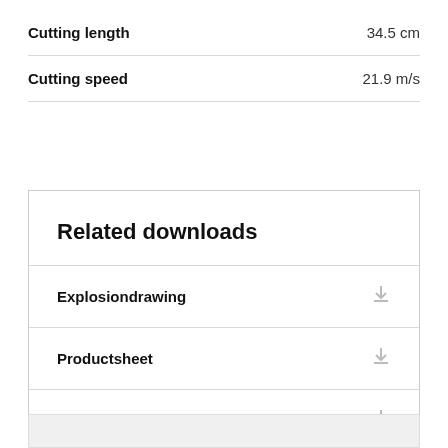| Property | Value |
| --- | --- |
| Cutting length | 34.5 cm |
| Cutting speed | 21.9 m/s |
Related downloads
Explosiondrawing
Productsheet
Manual